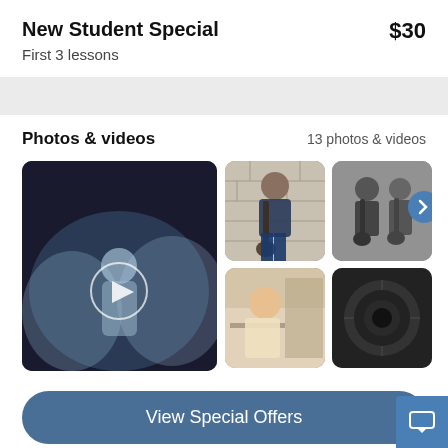New Student Special
First 3 lessons   $30
Photos & videos   13 photos & videos
[Figure (photo): Large video thumbnail showing a musician on stage in blue light with a play button circle overlay]
[Figure (photo): Person playing electric guitar against a brick wall]
[Figure (photo): Two people playing guitars together in black and white]
[Figure (photo): Person with long hair, partially visible, colorful background]
[Figure (photo): Close-up of a dark speaker or guitar amplifier]
View Special Offers
100% Satisfaction Guarantee